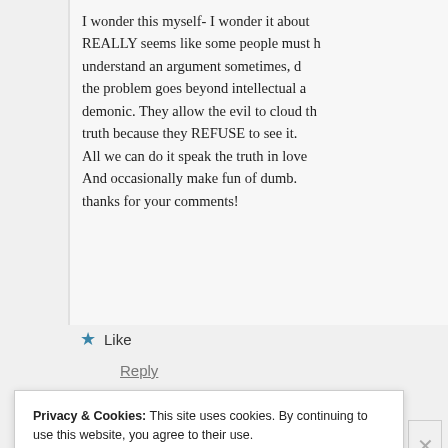I wonder this myself- I wonder it about REALLY seems like some people must understand an argument sometimes, d the problem goes beyond intellectual a demonic. They allow the evil to cloud th truth because they REFUSE to see it. All we can do it speak the truth in love And occasionally make fun of dumb. thanks for your comments!
★ Like
Reply
Privacy & Cookies: This site uses cookies. By continuing to use this website, you agree to their use. To find out more, including how to control cookies, see here: Cookie Policy
Close and accept